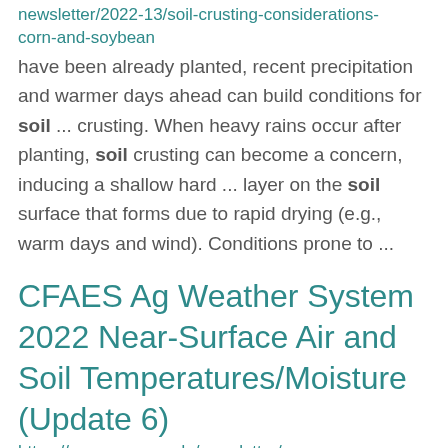newsletter/2022-13/soil-crusting-considerations-corn-and-soybean
have been already planted, recent precipitation and warmer days ahead can build conditions for soil ... crusting. When heavy rains occur after planting, soil crusting can become a concern, inducing a shallow hard ... layer on the soil surface that forms due to rapid drying (e.g., warm days and wind). Conditions prone to ...
CFAES Ag Weather System 2022 Near-Surface Air and Soil Temperatures/Moisture (Update 6)
https://agcrops.osu.edu/newsletter/corn-